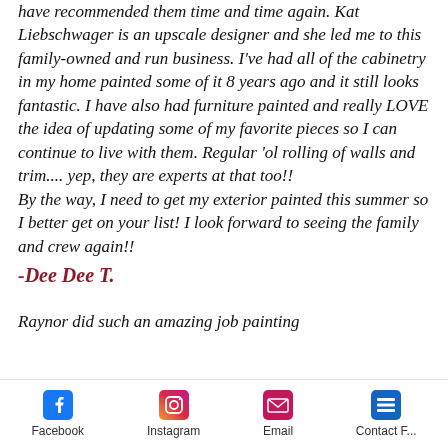have recommended them time and time again. Kat Liebschwager is an upscale designer and she led me to this family-owned and run business. I've had all of the cabinetry in my home painted some of it 8 years ago and it still looks fantastic. I have also had furniture painted and really LOVE the idea of updating some of my favorite pieces so I can continue to live with them. Regular 'ol rolling of walls and trim.... yep, they are experts at that too!! By the way, I need to get my exterior painted this summer so I better get on your list! I look forward to seeing the family and crew again!!
-Dee Dee T.
Raynor did such an amazing job painting
Facebook  Instagram  Email  Contact F...